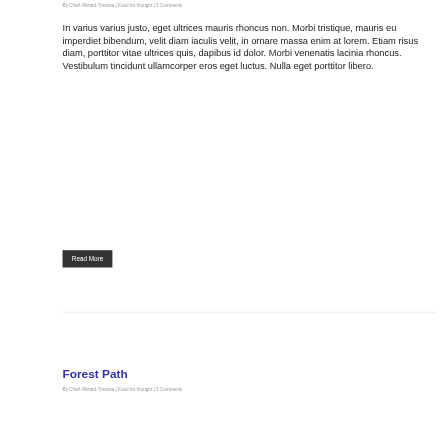By Chief-Wizard-Tramwa | Food for thought | 2 Comments
In varius varius justo, eget ultrices mauris rhoncus non. Morbi tristique, mauris eu imperdiet bibendum, velit diam iaculis velit, in ornare massa enim at lorem. Etiam risus diam, porttitor vitae ultrices quis, dapibus id dolor. Morbi venenatis lacinia rhoncus. Vestibulum tincidunt ullamcorper eros eget luctus. Nulla eget porttitor libero.
Read More
Forest Path
By Chief-Wizard-Tramwa | Food for thought | 2 Comments